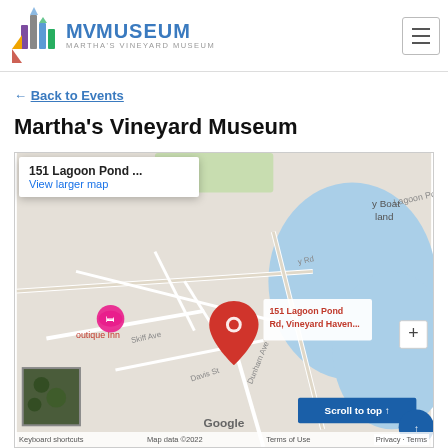[Figure (logo): MV Museum - Martha's Vineyard Museum logo with colorful bar chart icon and blue text]
← Back to Events
Martha's Vineyard Museum
[Figure (map): Google Maps showing location of 151 Lagoon Pond Rd, Vineyard Haven with red map pin, popup showing address, nearby Boutique Inn marker, roads including Skiff Ave, Davis St, Dunham Ave, water body to the right, satellite thumbnail in lower left, zoom button, and Scroll to top button]
Keyboard shortcuts   Map data ©2022   Terms of Use   Privacy · Terms